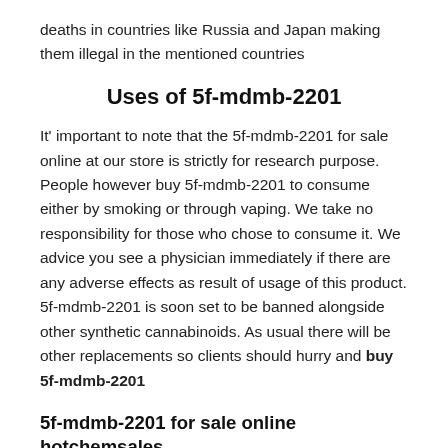deaths in countries like Russia and Japan making them illegal in the mentioned countries
Uses of 5f-mdmb-2201
It' important to note that the 5f-mdmb-2201 for sale online at our store is strictly for research purpose. People however buy 5f-mdmb-2201 to consume either by smoking or through vaping. We take no responsibility for those who chose to consume it. We advice you see a physician immediately if there are any adverse effects as result of usage of this product. 5f-mdmb-2201 is soon set to be banned alongside other synthetic cannabinoids. As usual there will be other replacements so clients should hurry and buy 5f-mdmb-2201
5f-mdmb-2201 for sale online hotchemsales
We are in partnership with the best…